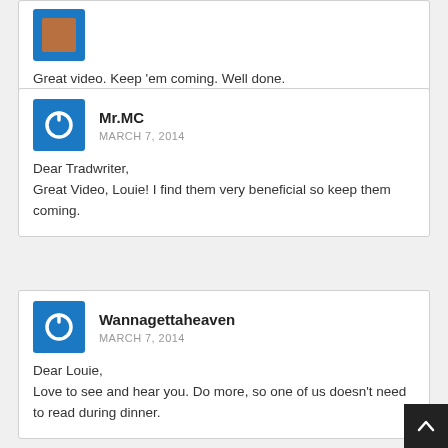Great video. Keep 'em coming. Well done.
Mr.MC
MARCH 7, 2014
Dear Tradwriter,
Great Video, Louie! I find them very beneficial so keep them coming.
Wannagettaheaven
MARCH 7, 2014
Dear Louie,
Love to see and hear you. Do more, so one of us doesn't need to read during dinner.